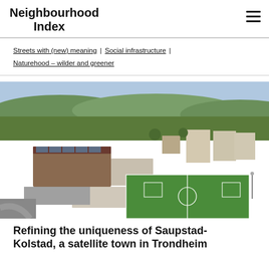Neighbourhood Index
Streets with (new) meaning | Social infrastructure | Naturehood – wilder and greener
[Figure (photo): Aerial drone photograph of a Scandinavian suburb (Saupstad-Kolstad) showing a large school building with solar panels, a green football pitch, residential blocks, and forested hills in the background.]
Refining the uniqueness of Saupstad-Kolstad, a satellite town in Trondheim